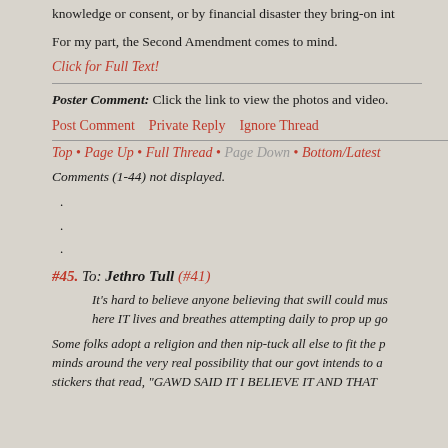knowledge or consent, or by financial disaster they bring-on int
For my part, the Second Amendment comes to mind.
Click for Full Text!
Poster Comment: Click the link to view the photos and video.
Post Comment   Private Reply   Ignore Thread
Top • Page Up • Full Thread • Page Down • Bottom/Latest
Comments (1-44) not displayed.
.
.
.
#45. To: Jethro Tull (#41)
It's hard to believe anyone believing that swill could mus here IT lives and breathes attempting daily to prop up go
Some folks adopt a religion and then nip-tuck all else to fit the minds around the very real possibility that our govt intends to a stickers that read, "GAWD SAID IT I BELIEVE IT AND THAT